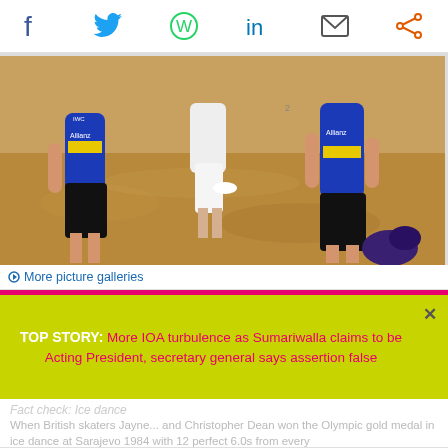[Figure (other): Social sharing icon bar with Facebook, Twitter, WhatsApp, LinkedIn, Email, and Share icons]
[Figure (photo): Beach volleyball players in blue and yellow Allianz jerseys on a sandy beach court]
More picture galleries
TOP STORY: More IOA turbulence as Sumariwalla claims to be Acting President, secretary general says assertion false
When British skaters Jayne... and Christopher Dean won the Olympic gold medal in ice dance at Sarajevo 1984 with 12 perfect 6.0s from every...
[Figure (logo): FISU logo with insidethegames.biz Best Media Partner 2019]